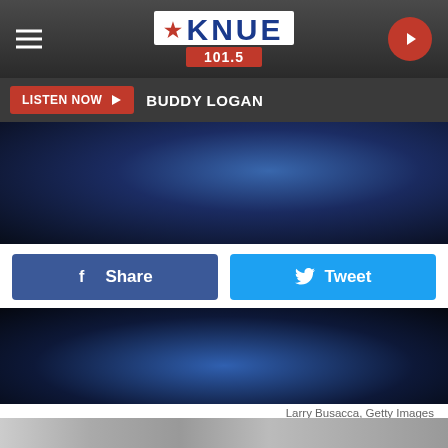[Figure (screenshot): KNUE 101.5 radio station website header with logo, hamburger menu, and play button]
[Figure (screenshot): Listen Now button bar with Buddy Logan text]
[Figure (photo): Top portion of concert/event photo showing person in dark setting]
[Figure (screenshot): Facebook Share and Twitter Tweet buttons]
[Figure (photo): Concert photo from 2014 CMA Festival, dark stage lighting]
Larry Busacca, Getty Images
2014 CMA Festival
This kiss, this kiss! Tim McGraw grabbed wife Faith Hill by the backend and planted a big smooch on her lips during the 2014 CMA Festival. The resulting photo is steamy, sweet and sexy all in one!
[Figure (photo): Bottom partial photo strip showing faces]